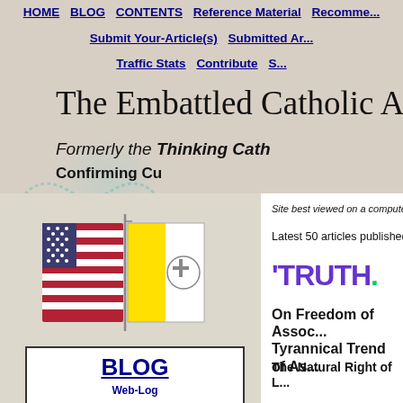HOME  BLOG  CONTENTS  Reference Material  Recommended  Submit Your-Article(s)  Submitted Articles  Traffic Stats  Contribute
The Embattled Catholic Ame...
Formerly the Thinking Cath... Confirming Cu...
[Figure (photo): American and Vatican crossed flags pin/badge]
HOME
BLOG
Web-Log
Site best viewed on a computer screen
Latest 50 articles published or updated here: B...
[Figure (logo): TRUTH. logo with purple text and green dot]
On Freedom of Association and Tyrannical Trend of As...
The Natural Right of L...